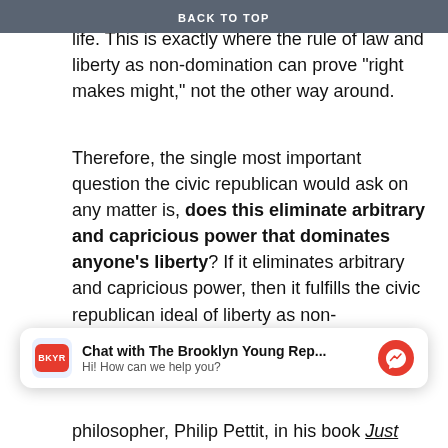BACK TO TOP
life. This is exactly where the rule of law and liberty as non-domination can prove “right makes might,” not the other way around.
Therefore, the single most important question the civic republican would ask on any matter is, does this eliminate arbitrary and capricious power that dominates anyone’s liberty? If it eliminates arbitrary and capricious power, then it fulfills the civic republican ideal of liberty as non-domination. Otherwise, new policies and reforms must be enacted to correct this.
[Figure (screenshot): Chat widget: Brooklyn Young Republicans chat popup with messenger icon. Title: 'Chat with The Brooklyn Young Rep...' Subtitle: 'Hi! How can we help you?']
philosopher, Philip Pettit, in his book Just